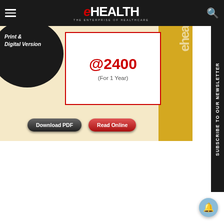eHEALTH — THE ENTERPRISE OF HEALTHCARE
[Figure (screenshot): eHealth magazine website screenshot showing navigation bar with hamburger menu, eHEALTH logo (The Enterprise of Healthcare), search icon, a promotional banner with Print & Digital Version subscription at @2400 for 1 Year, Download PDF and Read Online buttons, and a Subscribe to our Newsletter sidebar.]
Print & Digital Version
@2400
(For 1 Year)
Download PDF
Read Online
SUBSCRIBE TO OUR NEWSLETTER